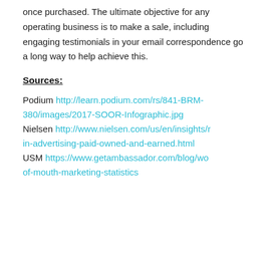once purchased. The ultimate objective for any operating business is to make a sale, including engaging testimonials in your email correspondence go a long way to help achieve this.
Sources:
Podium http://learn.podium.com/rs/841-BRM-380/images/2017-SOOR-Infographic.jpg Nielsen http://www.nielsen.com/us/en/insights/r in-advertising-paid-owned-and-earned.html USM https://www.getambassador.com/blog/wo of-mouth-marketing-statistics